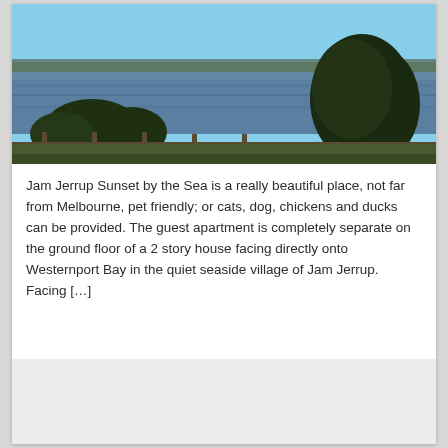[Figure (photo): Outdoor photograph showing a wide bay or lake with blue water, a treeline of dark green trees on the right, flat land horizon in the distance, a wooden fence in the foreground, and a clear blue sky above.]
Jam Jerrup Sunset by the Sea is a really beautiful place, not far from Melbourne, pet friendly; or cats, dog, chickens and ducks can be provided. The guest apartment is completely separate on the ground floor of a 2 story house facing directly onto Westernport Bay in the quiet seaside village of Jam Jerrup. Facing […]